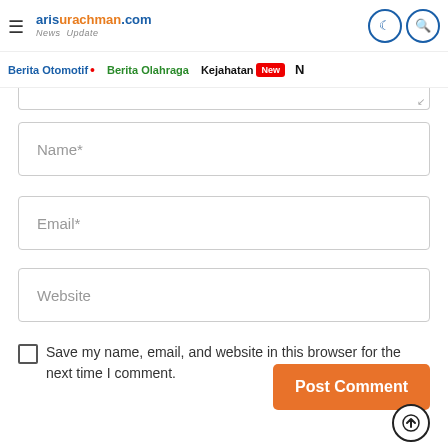arisurachman.com News Update
Berita Otomotif • Berita Olahraga Kejahatan New N
[Figure (screenshot): Partial text input area (textarea bottom edge with resize handle)]
Name*
Email*
Website
Save my name, email, and website in this browser for the next time I comment.
Post Comment